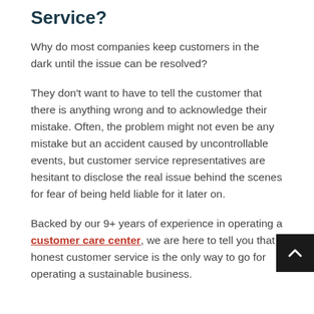Service?
Why do most companies keep customers in the dark until the issue can be resolved?
They don't want to have to tell the customer that there is anything wrong and to acknowledge their mistake. Often, the problem might not even be any mistake but an accident caused by uncontrollable events, but customer service representatives are hesitant to disclose the real issue behind the scenes for fear of being held liable for it later on.
Backed by our 9+ years of experience in operating a customer care center, we are here to tell you that honest customer service is the only way to go for operating a sustainable business.